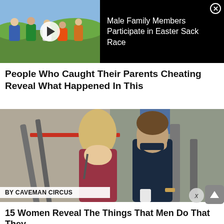[Figure (screenshot): Video thumbnail showing Easter sack race with people in colored sacks on grass field, with play button overlay]
Male Family Members Participate in Easter Sack Race
People Who Caught Their Parents Cheating Reveal What Happened In This
[Figure (photo): Photo of a blonde woman in a maroon t-shirt and a man in a dark polo shirt outdoors near metal structures]
BY CAVEMAN CIRCUS
15 Women Reveal The Things That Men Do That They...